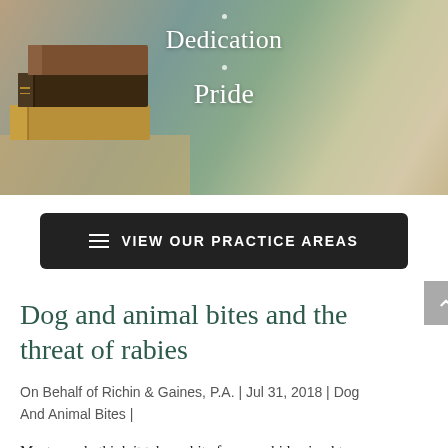[Figure (photo): Hero banner image showing stacked old books on a wooden table with blurred teal/green background. Text overlays read 'Dedication' and 'Pride' in white serif font with decorative dots.]
VIEW OUR PRACTICE AREAS
Dog and animal bites and the threat of rabies
On Behalf of Richin & Gaines, P.A. | Jul 31, 2018 | Dog And Animal Bites |
Most people think it takes a bite from a rabid animal to